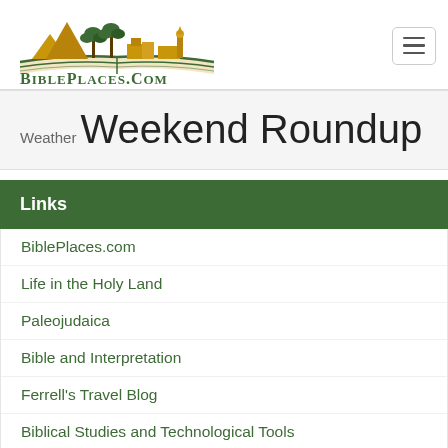[Figure (logo): BiblePlaces.com logo with desert skyline silhouette (mountains, palm trees, minaret) above an open book, with text BIBLEPLACES.COM in dark green]
Weather Weekend Roundup
Links
BiblePlaces.com
Life in the Holy Land
Paleojudaica
Bible and Interpretation
Ferrell's Travel Blog
Biblical Studies and Technological Tools
Explorator
Jerusalem University College